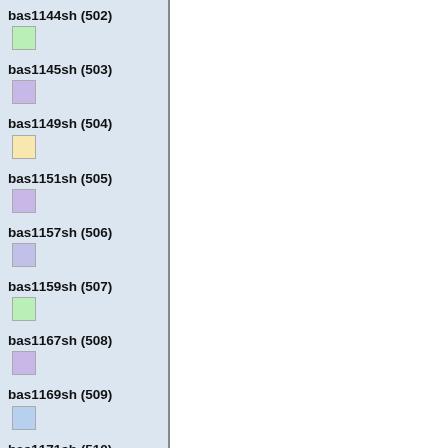bas1144sh (502)
bas1145sh (503)
bas1149sh (504)
bas1151sh (505)
bas1157sh (506)
bas1159sh (507)
bas1167sh (508)
bas1169sh (509)
bas1171sh (510)
bas1172sh (511)